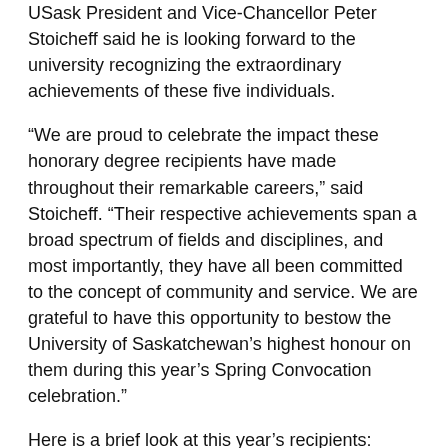USask President and Vice-Chancellor Peter Stoicheff said he is looking forward to the university recognizing the extraordinary achievements of these five individuals.
“We are proud to celebrate the impact these honorary degree recipients have made throughout their remarkable careers,” said Stoicheff. “Their respective achievements span a broad spectrum of fields and disciplines, and most importantly, they have all been committed to the concept of community and service. We are grateful to have this opportunity to bestow the University of Saskatchewan’s highest honour on them during this year’s Spring Convocation celebration.”
Here is a brief look at this year’s recipients:
Maria Campbell
Honorary Doctor of Letters